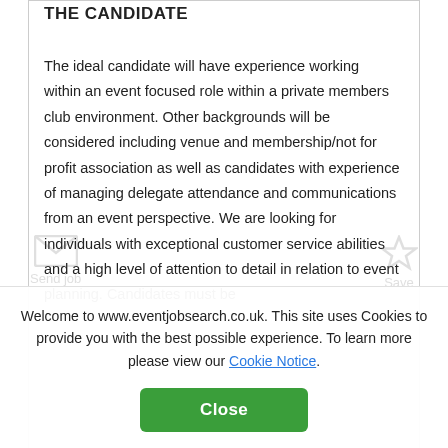THE CANDIDATE
The ideal candidate will have experience working within an event focused role within a private members club environment. Other backgrounds will be considered including venue and membership/not for profit association as well as candidates with experience of managing delegate attendance and communications from an event perspective. We are looking for individuals with exceptional customer service abilities and a high level of attention to detail in relation to event planning. Candidates must be
Welcome to www.eventjobsearch.co.uk. This site uses Cookies to provide you with the best possible experience. To learn more please view our Cookie Notice.
Close